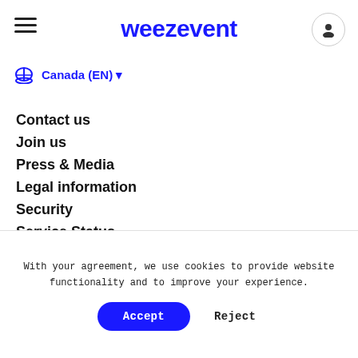weezevent
Canada (EN)
Contact us
Join us
Press & Media
Legal information
Security
Service Status
Help
Planning an event
Partners
Accounting
With your agreement, we use cookies to provide website functionality and to improve your experience.
Accept
Reject